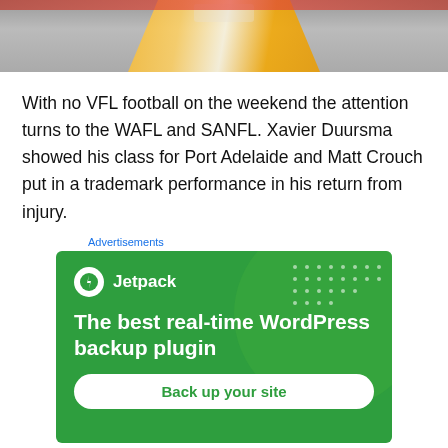[Figure (photo): Cropped photo of an AFL player in a yellow and gold jersey, showing the upper body/torso area with an AFL logo visible on the jersey.]
With no VFL football on the weekend the attention turns to the WAFL and SANFL. Xavier Duursma showed his class for Port Adelaide and Matt Crouch put in a trademark performance in his return from injury.
Advertisements
[Figure (screenshot): Jetpack advertisement banner with green background. Shows the Jetpack logo (white circle with lightning bolt icon) and text: 'Jetpack', 'The best real-time WordPress backup plugin', and a white button reading 'Back up your site'.]